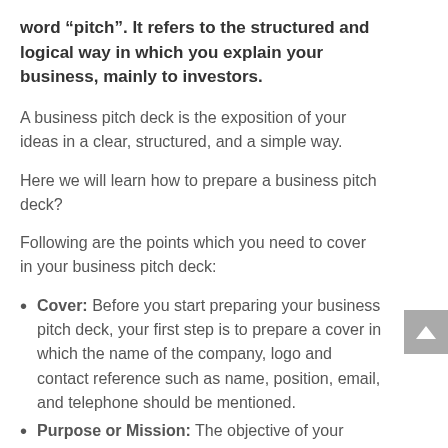word "pitch". It refers to the structured and logical way in which you explain your business, mainly to investors.
A business pitch deck is the exposition of your ideas in a clear, structured, and a simple way.
Here we will learn how to prepare a business pitch deck?
Following are the points which you need to cover in your business pitch deck:
Cover: Before you start preparing your business pitch deck, your first step is to prepare a cover in which the name of the company, logo and contact reference such as name, position, email, and telephone should be mentioned.
Purpose or Mission: The objective of your company to be described shortly and you should...